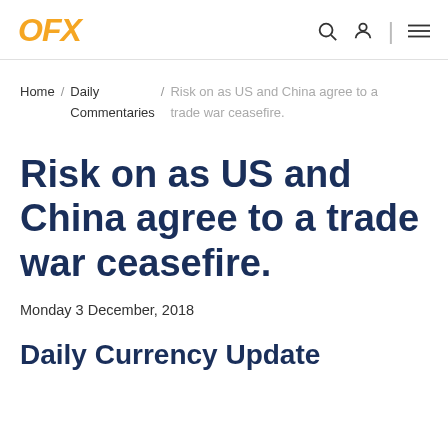OFX
Home / Daily Commentaries / Risk on as US and China agree to a trade war ceasefire.
Risk on as US and China agree to a trade war ceasefire.
Monday 3 December, 2018
Daily Currency Update